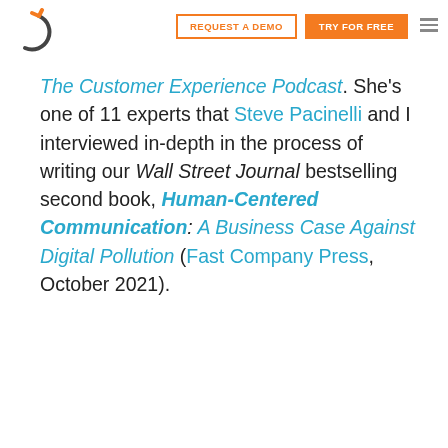[Figure (logo): BombBomb logo: stylized circular arrow icon in orange and dark gray]
REQUEST A DEMO
TRY FOR FREE
The Customer Experience Podcast. She’s one of 11 experts that Steve Pacinelli and I interviewed in-depth in the process of writing our Wall Street Journal bestselling second book, Human-Centered Communication: A Business Case Against Digital Pollution (Fast Company Press, October 2021).